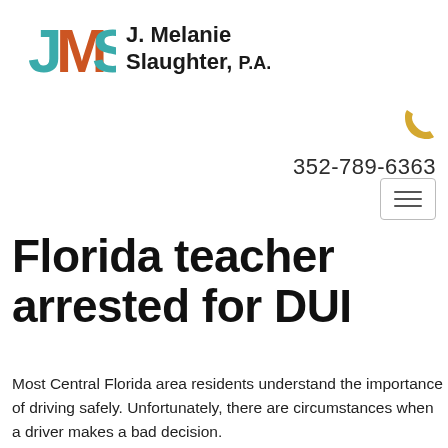[Figure (logo): JMS logo with teal J, orange M, teal S letters, followed by firm name 'J. Melanie Slaughter, P.A.']
352-789-6363
Florida teacher arrested for DUI
Most Central Florida area residents understand the importance of driving safely. Unfortunately, there are circumstances when a driver makes a bad decision.